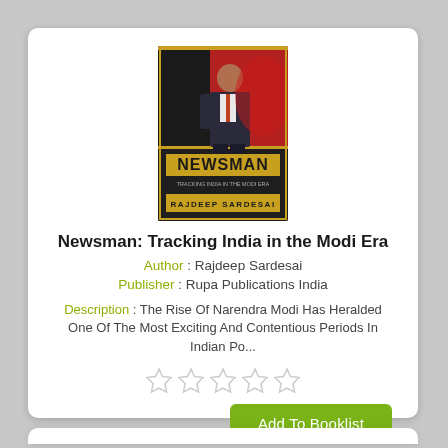[Figure (illustration): Book cover of 'Newsman: Tracking India in the Modi Era' by Rajdeep Sardesai. Red and dark background with a man (Rajdeep Sardesai) sitting. Title 'NEWSMAN' in bold gold letters, subtitle and author name below.]
Newsman: Tracking India in the Modi Era
Author : Rajdeep Sardesai
Publisher : Rupa Publications India
Description : The Rise Of Narendra Modi Has Heralded One Of The Most Exciting And Contentious Periods In Indian Po...
[Figure (other): Five empty star rating icons in light gray]
Add To Booklist